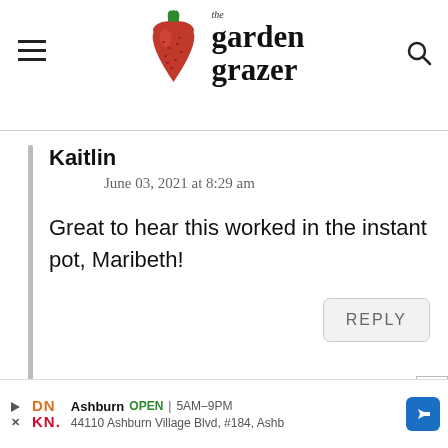the garden grazer
Kaitlin
June 03, 2021 at 8:29 am
Great to hear this worked in the instant pot, Maribeth!
REPLY
[Figure (screenshot): Ad banner: Ashburn OPEN 5AM-9PM, 44110 Ashburn Village Blvd, #184, Ashb (Dunkin Donuts ad)]